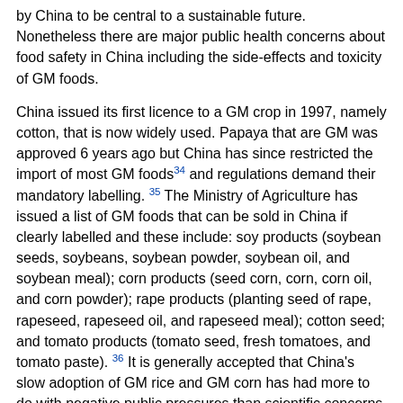by China to be central to a sustainable future. Nonetheless there are major public health concerns about food safety in China including the side-effects and toxicity of GM foods.
China issued its first licence to a GM crop in 1997, namely cotton, that is now widely used. Papaya that are GM was approved 6 years ago but China has since restricted the import of most GM foods[34] and regulations demand their mandatory labelling.[35] The Ministry of Agriculture has issued a list of GM foods that can be sold in China if clearly labelled and these include: soy products (soybean seeds, soybeans, soybean powder, soybean oil, and soybean meal); corn products (seed corn, corn, corn oil, and corn powder); rape products (planting seed of rape, rapeseed, rapeseed oil, and rapeseed meal); cotton seed; and tomato products (tomato seed, fresh tomatoes, and tomato paste).[36] It is generally accepted that China's slow adoption of GM rice and GM corn has had more to do with negative public pressures than scientific concerns. The formal policy address affirmed that the country will speed up innovative application of agricultural biotechnology breeding to develop new biological varieties that have important value for fostering a large and strong modern seed industry.[37] [38]